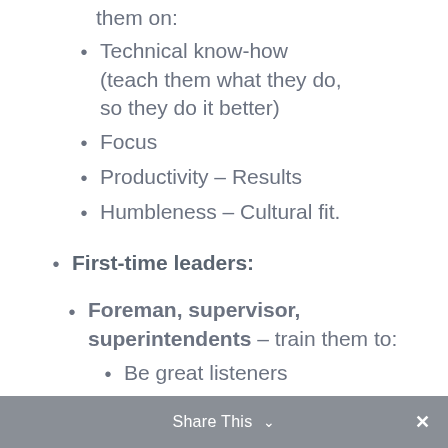them on:
Technical know-how (teach them what they do, so they do it better)
Focus
Productivity – Results
Humbleness – Cultural fit.
First-time leaders:
Foreman, supervisor, superintendents – train them to:
Be great listeners
Create performance pattern recognition
High-performance teams
Talent development
Share This ×